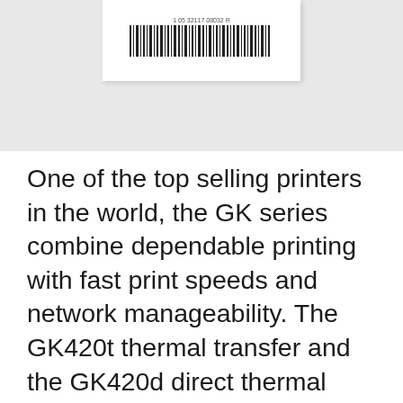[Figure (photo): Top portion of a product page showing a white card/label with a barcode on a light gray background]
One of the top selling printers in the world, the GK series combine dependable printing with fast print speeds and network manageability. The GK420t thermal transfer and the GK420d direct thermal printer are a top choice for a variety of mid-volume and distributed-printing applications to reliability produce quality text, barcodes or graphics. Thermal Transfer or
One of the top selling printers in the world, the GK series combine dependable printing with fast print speeds and network manageability. The GK420t thermal transfer and the GK420d direct thermal printer are a top choice for a variety of mid-volume